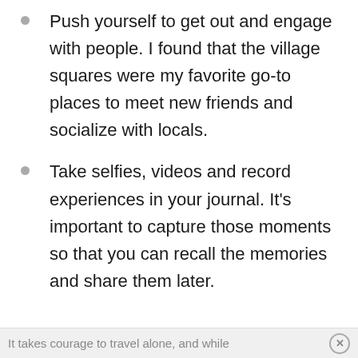Push yourself to get out and engage with people. I found that the village squares were my favorite go-to places to meet new friends and socialize with locals.
Take selfies, videos and record experiences in your journal. It's important to capture those moments so that you can recall the memories and share them later.
It takes courage to travel alone, and while